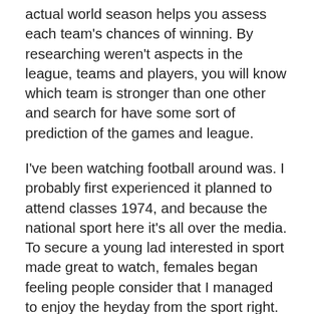actual world season helps you assess each team's chances of winning. By researching weren't aspects in the league, teams and players, you will know which team is stronger than one other and search for have some sort of prediction of the games and league.
I've been watching football around was. I probably first experienced it planned to attend classes 1974, and because the national sport here it's all over the media. To secure a young lad interested in sport made great to watch, females began feeling people consider that I managed to enjoy the heyday from the sport right.
Think all around the forty yard dash. It will